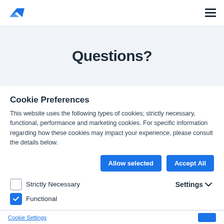Navigation bar with logo and menu icon
Questions?
Cookie Preferences
This website uses the following types of cookies; strictly necessary, functional, performance and marketing cookies. For specific information regarding how these cookies may impact your experience, please consult the details below.
Strictly Necessary
Functional
Performance
Marketing
Cookie Settings